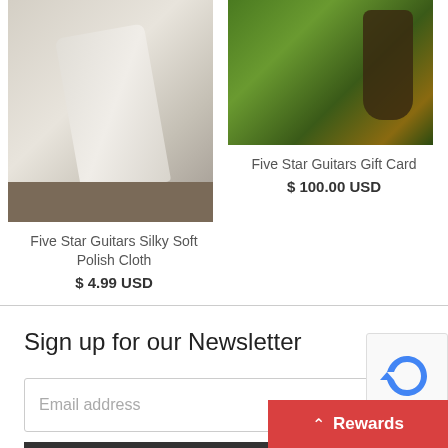[Figure (photo): Five Star Guitars Silky Soft Polish Cloth product photo showing a white cloth near a golden guitar body on a wooden surface]
Five Star Guitars Silky Soft Polish Cloth
$ 4.99 USD
[Figure (photo): Five Star Guitars Gift Card product photo showing a guitar outdoors among green foliage]
Five Star Guitars Gift Card
$ 100.00 USD
Sign up for our Newsletter
Email address
SIGN UP